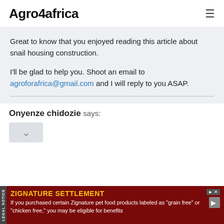Agro4africa
Great to know that you enjoyed reading this article about snail housing construction.

I'll be glad to help you. Shoot an email to agroforafrica@gmail.com and I will reply to you ASAP.
Onyenze chidozie says:
[Figure (screenshot): Advertisement banner for Zignature Settlement legal notice at bottom of page]